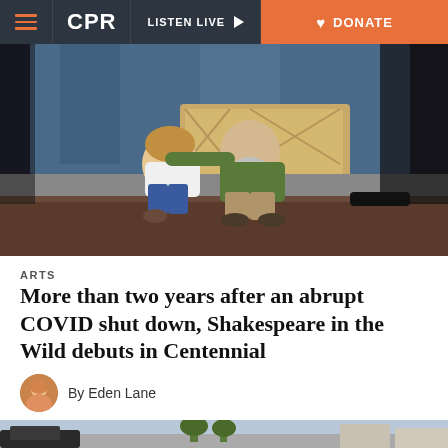CPR  LISTEN LIVE  DONATE
[Figure (photo): Two performers on an outdoor stage, one sitting against a wooden prop box and being embraced from behind by the other. Stage lighting suggests an evening performance.]
ARTS
More than two years after an abrupt COVID shut down, Shakespeare in the Wild debuts in Centennial
By Eden Lane
[Figure (photo): Partial view of an outdoor street scene with vehicles and buildings, bottom of page.]